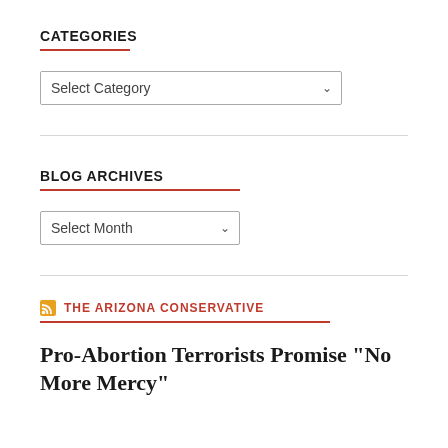CATEGORIES
Select Category
BLOG ARCHIVES
Select Month
RSS THE ARIZONA CONSERVATIVE
Pro-Abortion Terrorists Promise “No More Mercy”